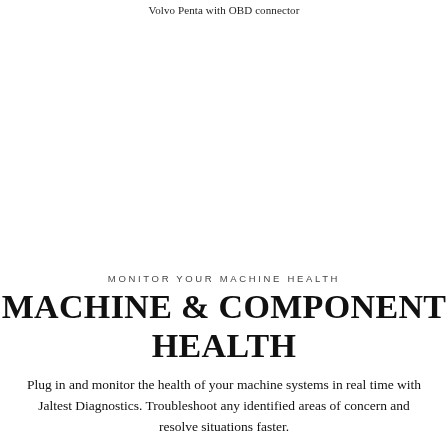Volvo Penta with OBD connector
MONITOR YOUR MACHINE HEALTH
MACHINE & COMPONENT HEALTH
Plug in and monitor the health of your machine systems in real time with Jaltest Diagnostics. Troubleshoot any identified areas of concern and resolve situations faster.